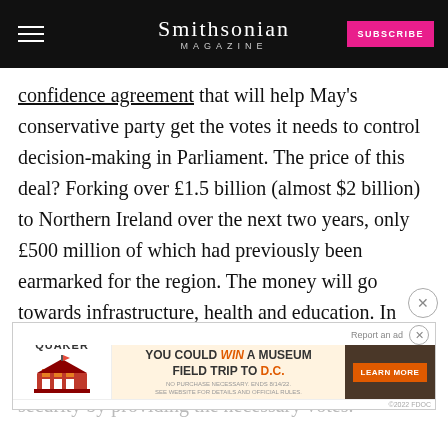Smithsonian Magazine — SUBSCRIBE
confidence agreement that will help May's conservative party get the votes it needs to control decision-making in Parliament. The price of this deal? Forking over £1.5 billion (almost $2 billion) to Northern Ireland over the next two years, only £500 million of which had previously been earmarked for the region. The money will go towards infrastructure, health and education. In return, the DUP will support the Tories (the Conservative Party) on platforms like Brexit and security by providing the necessary votes.
[Figure (other): Quaker Museum Day advertisement: 'You Could Win a Museum Field Trip to D.C.' with Learn More button]